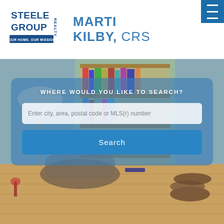[Figure (logo): Steele Group Realty logo with text YOUR HOME. OUR MISSION.]
MARTI KILBY, CRS
[Figure (photo): Interior living room scene with bookshelf, lamp, chair, and stacked logs as background image]
WHERE WOULD YOU LIKE TO SEARCH?
Enter city, area, postal code or MLS(r) number
Search